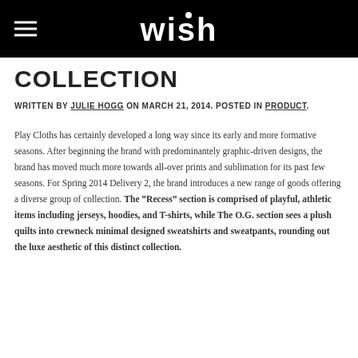wish
COLLECTION
WRITTEN BY JULIE HOGG ON MARCH 21, 2014. POSTED IN PRODUCT.
Play Cloths has certainly developed a long way since its early and more formative seasons. After beginning the brand with predominantely graphic-driven designs, the brand has moved much more towards all-over prints and sublimation for its past few seasons. For Spring 2014 Delivery 2, the brand introduces a new range of goods offering a diverse group of collection. The “Recess” section is comprised of playful, athletic items including jerseys, hoodies, and T-shirts, while The O.G. section sees a plush quilts into crewneck minimal designed sweatshirts and sweatpants, rounding out the luxe aesthetic of this distinct collection.